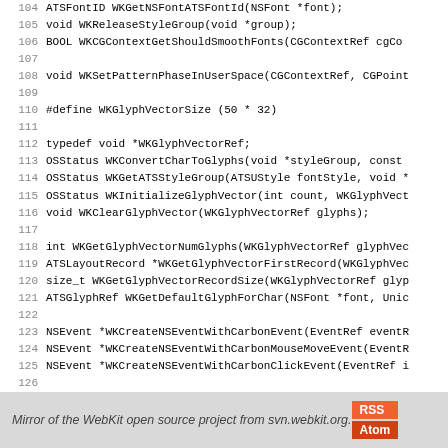Code listing lines 104-132: WebKit C/Objective-C function declarations including WKReleaseStyleGroup, WKCGContextGetShouldSmoothFonts, WKSetPatternPhaseInUserSpace, WKGlyphVectorSize define, WKGlyphVectorRef typedef, WKConvertCharToGlyphs, WKGetATSStyleGroup, WKInitializeGlyphVector, WKClearGlyphVector, WKGetGlyphVectorNumGlyphs, WKGetGlyphVectorFirstRecord, WKGetGlyphVectorRecordSize, WKGetDefaultGlyphForChar, WKCreateNSEventWithCarbonEvent, WKCreateNSEventWithCarbonMouseMoveEvent, WKCreateNSEventWithCarbonClickEvent, WKExecutableLinkedInTigerOrEarlier, WKNSWindowOverrideCGContext, WKNSWindowRestoreCGContext, WKSupportsMultipartXMixedReplace
Mirror of the WebKit open source project from svn.webkit.org.